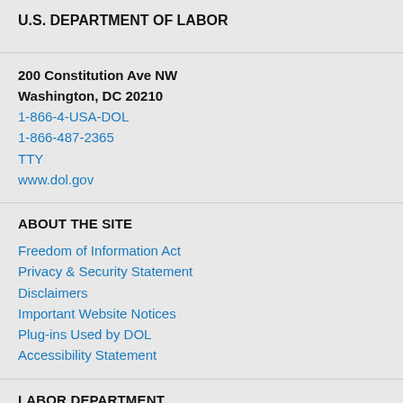U.S. DEPARTMENT OF LABOR
200 Constitution Ave NW
Washington, DC 20210
1-866-4-USA-DOL
1-866-487-2365
TTY
www.dol.gov
ABOUT THE SITE
Freedom of Information Act
Privacy & Security Statement
Disclaimers
Important Website Notices
Plug-ins Used by DOL
Accessibility Statement
LABOR DEPARTMENT
About DOL
Español
Office of Inspector General
Subscribe to the DOL Newsletter